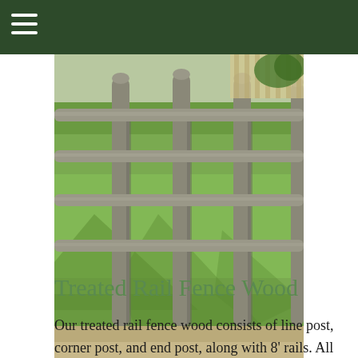[Figure (photo): Photograph of a wooden rail fence with round log posts and horizontal rails, set on a green grassy lawn. The wood is weathered grey. Background shows more fencing and trees.]
Treated Rail Fence Wood
Our treated rail fence wood consists of line post, corner post, and end post, along with 8' rails. All posts are domed, drilled and the holes are countersunk, then treated with CA II NatureWood to a .15 retention. All rails are